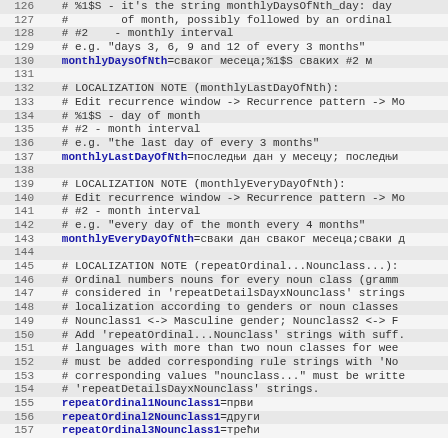Source code localization file lines 126-157
126   # %1$S - it's the string monthlyDaysOfNth_day: day
127   #        of month, possibly followed by an ordinal
128   # #2    - monthly interval
129   # e.g. "days 3, 6, 9 and 12 of every 3 months"
130   monthlyDaysOfNth=%1$S сваког месеца;%1$S сваких #2 м
131
132   # LOCALIZATION NOTE (monthlyLastDayOfNth):
133   # Edit recurrence window -> Recurrence pattern -> Mo
134   # %1$S - day of month
135   # #2 - month interval
136   # e.g. "the last day of every 3 months"
137   monthlyLastDayOfNth=последњи дан у месецу; последњи
138
139   # LOCALIZATION NOTE (monthlyEveryDayOfNth):
140   # Edit recurrence window -> Recurrence pattern -> Mo
141   # #2 - month interval
142   # e.g. "every day of the month every 4 months"
143   monthlyEveryDayOfNth=сваки дан сваког месеца;сваки д
144
145   # LOCALIZATION NOTE (repeatOrdinal...Nounclass...):
146   # Ordinal numbers nouns for every noun class (gramm
147   # considered in 'repeatDetailsDayxNounclass' strings
148   # localization according to genders or noun classes
149   # Nounclass1 <-> Masculine gender; Nounclass2 <-> F
150   # Add 'repeatOrdinal...Nounclass' strings with suff.
151   # languages with more than two noun classes for wee
152   # must be added corresponding rule strings with 'No
153   # corresponding values "nounclass..." must be writte
154   # 'repeatDetailsDayxNounclass' strings.
155   repeatOrdinal1Nounclass1=први
156   repeatOrdinal2Nounclass1=други
157   repeatOrdinal3Nounclass1=трећи